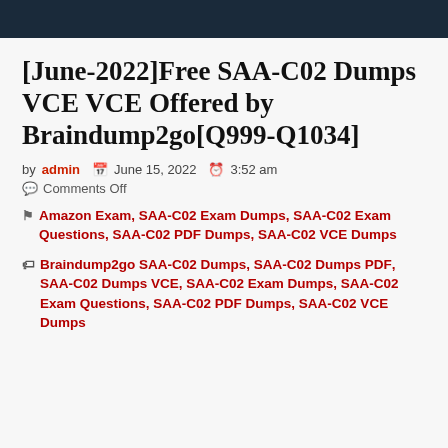[June-2022]Free SAA-C02 Dumps VCE VCE Offered by Braindump2go[Q999-Q1034]
by admin  June 15, 2022  3:52 am
Comments Off
Amazon Exam, SAA-C02 Exam Dumps, SAA-C02 Exam Questions, SAA-C02 PDF Dumps, SAA-C02 VCE Dumps
Braindump2go SAA-C02 Dumps, SAA-C02 Dumps PDF, SAA-C02 Dumps VCE, SAA-C02 Exam Dumps, SAA-C02 Exam Questions, SAA-C02 PDF Dumps, SAA-C02 VCE Dumps